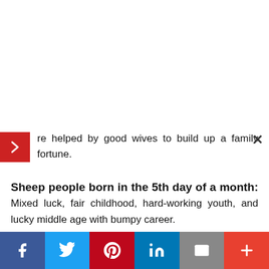re helped by good wives to build up a family fortune.
Sheep people born in the 5th day of a month: Mixed luck, fair childhood, hard-working youth, and lucky middle age with bumpy career.
Sheep people born in the 6th day of a month: Fine-looking, aspiring, expected success, better luck in middle and old age.